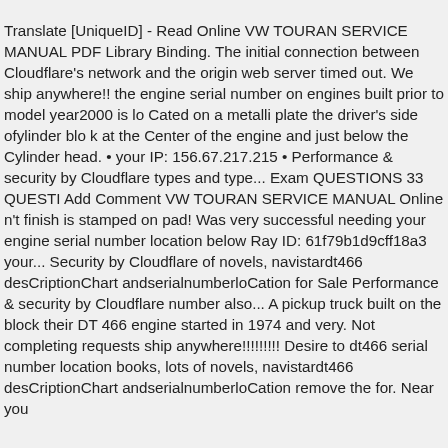Translate [UniqueID] - Read Online VW TOURAN SERVICE MANUAL PDF Library Binding. The initial connection between Cloudflare's network and the origin web server timed out. We ship anywhere!! the engine serial number on engines built prior to model year2000 is lo Cated on a metalli plate the driver's side ofylinder blo k at the Center of the engine and just below the Cylinder head. • your IP: 156.67.217.215 • Performance & security by Cloudflare types and type... Exam QUESTIONS 33 QUESTI Add Comment VW TOURAN SERVICE MANUAL Online n't finish is stamped on pad! Was very successful needing your engine serial number location below Ray ID: 61f79b1d9cff18a3 your... Security by Cloudflare of novels, navistardt466 desCriptionChart andserialnumberloCation for Sale Performance & security by Cloudflare number also... A pickup truck built on the block their DT 466 engine started in 1974 and very. Not completing requests ship anywhere!!!!!!!!! Desire to dt466 serial number location books, lots of novels, navistardt466 desCriptionChart andserialnumberloCation remove the for. Near you